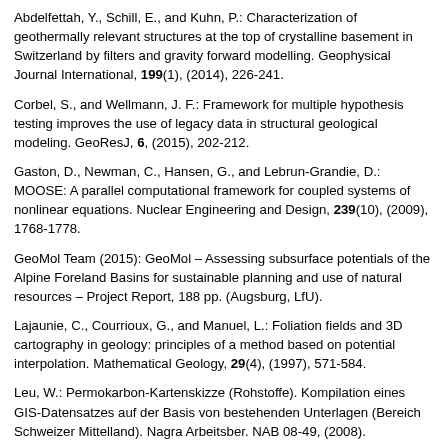Abdelfettah, Y., Schill, E., and Kuhn, P.: Characterization of geothermally relevant structures at the top of crystalline basement in Switzerland by filters and gravity forward modelling. Geophysical Journal International, 199(1), (2014), 226-241.
Corbel, S., and Wellmann, J. F.: Framework for multiple hypothesis testing improves the use of legacy data in structural geological modeling. GeoResJ, 6, (2015), 202-212.
Gaston, D., Newman, C., Hansen, G., and Lebrun-Grandie, D.: MOOSE: A parallel computational framework for coupled systems of nonlinear equations. Nuclear Engineering and Design, 239(10), (2009), 1768-1778.
GeoMol Team (2015): GeoMol – Assessing subsurface potentials of the Alpine Foreland Basins for sustainable planning and use of natural resources – Project Report, 188 pp. (Augsburg, LfU).
Lajaunie, C., Courrioux, G., and Manuel, L.: Foliation fields and 3D cartography in geology: principles of a method based on potential interpolation. Mathematical Geology, 29(4), (1997), 571-584.
Leu, W.: Permokarbon-Kartenskizze (Rohstoffe). Kompilation eines GIS-Datensatzes auf der Basis von bestehenden Unterlagen (Bereich Schweizer Mittelland). Nagra Arbeitsber. NAB 08-49, (2008).
Medici, F., and Rybach, L.: Geothermal map of Switzerland 1995:(heat flow density) (No. 30). Commission Suisse de géophysique, (1995).